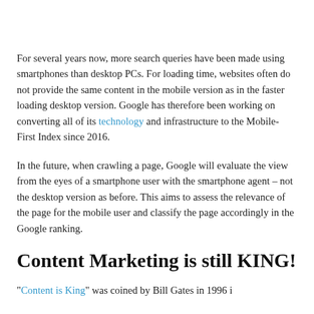For several years now, more search queries have been made using smartphones than desktop PCs. For loading time, websites often do not provide the same content in the mobile version as in the faster loading desktop version. Google has therefore been working on converting all of its technology and infrastructure to the Mobile-First Index since 2016.
In the future, when crawling a page, Google will evaluate the view from the eyes of a smartphone user with the smartphone agent – not the desktop version as before. This aims to assess the relevance of the page for the mobile user and classify the page accordingly in the Google ranking.
Content Marketing is still KING!
"Content is King" was coined by Bill Gates in 1996 i